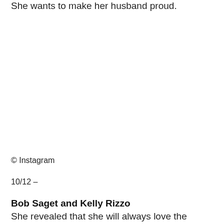She wants to make her husband proud.
© Instagram
10/12 –
Bob Saget and Kelly Rizzo
She revealed that she will always love the actor's